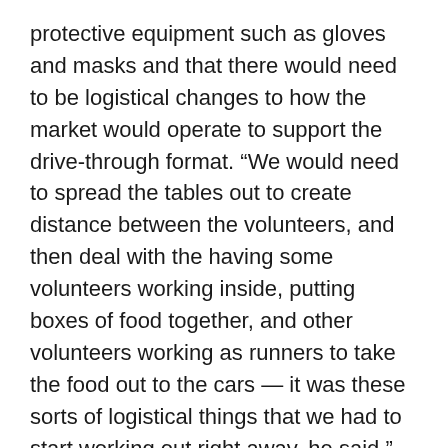protective equipment such as gloves and masks and that there would need to be logistical changes to how the market would operate to support the drive-through format. “We would need to spread the tables out to create distance between the volunteers, and then deal with the having some volunteers working inside, putting boxes of food together, and other volunteers working as runners to take the food out to the cars — it was these sorts of logistical things that we had to start working out right away, he said.”
According to Harrison, the group anticipated that the need would be great, so they had to plan for various levels of participation from the community. “We were faced with the challenge of serving potentially twice as many people and in an entirely new format,” she said. Harrison continued, “We relied on volunteers from other campus police units and devised a traffic pattern to line up the cars as simply and efficiently as possible.